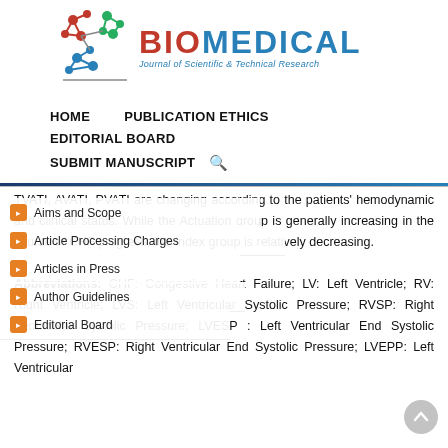[Figure (logo): Biomedical Journal of Scientific & Technical Research logo with molecular network graphic in red, green, and blue, and bold red/blue 'BIOMEDICAL' text]
HOME   PUBLICATION ETHICS   EDITORIAL BOARD   SUBMIT MANUSCRIPT
Aims and Scope
Article Processing Charges
Articles in Press
Author Guidelines
Editorial Board
TVATI, AVATI, PVATI are changing according to the patients' hemodynamic and clinical status. While the Actuation group is generally increasing in the course of CHF progress, the Index group is relatively decreasing.
Abbreviations: CHF: Congestive Heart Failure; LV: Left Ventricle; RV: Right Ventricle; LVS: Left Ventricular Systolic Pressure; RVSP: Right Ventricular Systolic Pressure; LVESP : Left Ventricular End Systolic Pressure; RVESP: Right Ventricular End Systolic Pressure; LVEPP: Left Ventricular